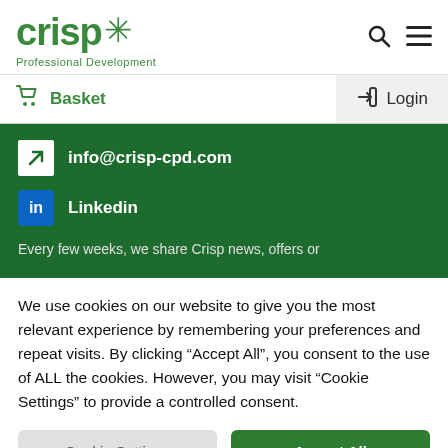[Figure (logo): Crisp Professional Development logo with green asterisk/star icon]
Basket
Login
info@crisp-cpd.com
Linkedin
Every few weeks, we share Crisp news, offers or
We use cookies on our website to give you the most relevant experience by remembering your preferences and repeat visits. By clicking “Accept All”, you consent to the use of ALL the cookies. However, you may visit “Cookie Settings” to provide a controlled consent.
Cookie Settings
Accept All